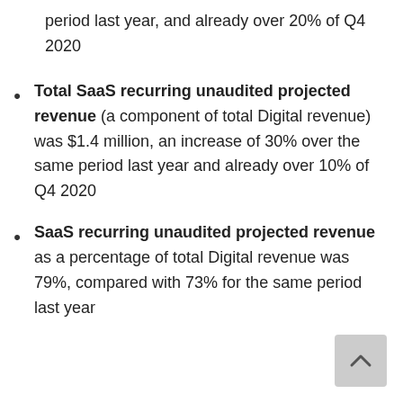period last year, and already over 20% of Q4 2020
Total SaaS recurring unaudited projected revenue (a component of total Digital revenue) was $1.4 million, an increase of 30% over the same period last year and already over 10% of Q4 2020
SaaS recurring unaudited projected revenue as a percentage of total Digital revenue was 79%, compared with 73% for the same period last year